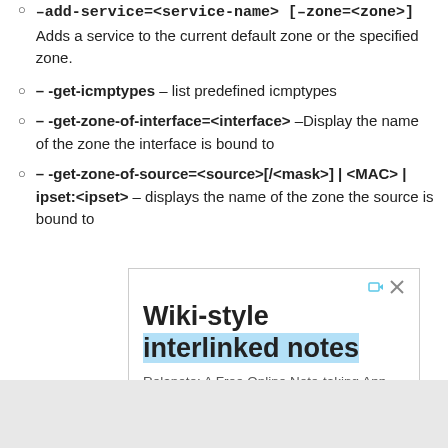–add-service=<service-name> [–zone=<zone>] Adds a service to the current default zone or the specified zone.
– -get-icmptypes – list predefined icmptypes
– -get-zone-of-interface=<interface> –Display the name of the zone the interface is bound to
– -get-zone-of-source=<source>[/<mask>] | <MAC> | ipset:<ipset> – displays the name of the zone the source is bound to
[Figure (screenshot): Advertisement box for 'Wiki-style interlinked notes' - Relanote: A Free Online Note-taking App]